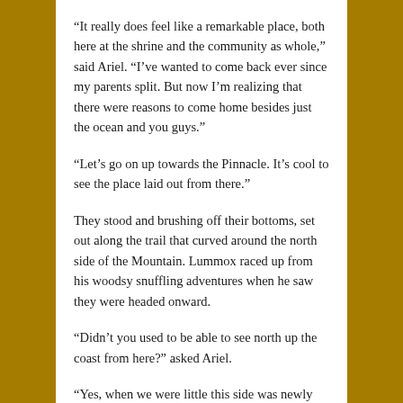“It really does feel like a remarkable place, both here at the shrine and the community as whole,” said Ariel. “I’ve wanted to come back ever since my parents split. But now I’m realizing that there were reasons to come home besides just the ocean and you guys.”
“Let’s go on up towards the Pinnacle. It’s cool to see the place laid out from there.”
They stood and brushing off their bottoms, set out along the trail that curved around the north side of the Mountain. Lummox raced up from his woodsy snuffling adventures when he saw they were headed onward.
“Didn’t you used to be able to see north up the coast from here?” asked Ariel.
“Yes, when we were little this side was newly clear-cut. But trees do grow and these are now blocking the view. Can’t really complain. I do miss seeing further in this direction but the wind doesn’t whip so much through here